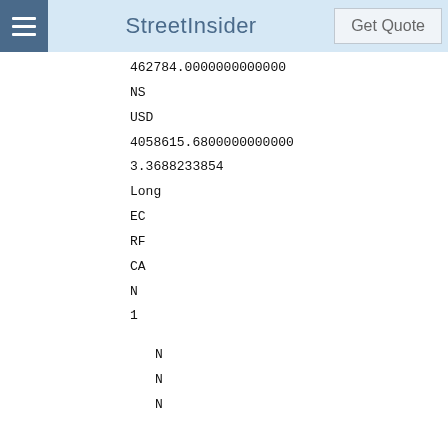StreetInsider | Get Quote
462784.0000000000000
NS
USD
4058615.6800000000000
3.3688233854
Long
EC
RF
CA
N
1
N
N
N
TREASURY BILL
254900HROIFWPRGM1V77
912796S42